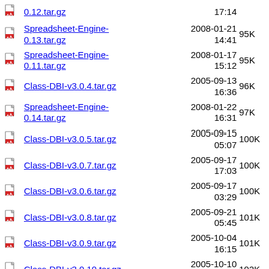0.12.tar.gz  2008-01-?? 17:14
Spreadsheet-Engine-0.13.tar.gz  2008-01-21 14:41  95K
Spreadsheet-Engine-0.11.tar.gz  2008-01-17 15:12  95K
Class-DBI-v3.0.4.tar.gz  2005-09-13 16:36  96K
Spreadsheet-Engine-0.14.tar.gz  2008-01-22 16:31  97K
Class-DBI-v3.0.5.tar.gz  2005-09-15 05:07  100K
Class-DBI-v3.0.7.tar.gz  2005-09-17 17:03  100K
Class-DBI-v3.0.6.tar.gz  2005-09-17 03:29  100K
Class-DBI-v3.0.8.tar.gz  2005-09-21 05:45  101K
Class-DBI-v3.0.9.tar.gz  2005-10-04 16:15  101K
Class-DBI-v3.0.10.tar.gz  2005-10-10 20:56  102K
Class-DBI-v3.0.12.tar.gz  2005-11-04 22:06  102K